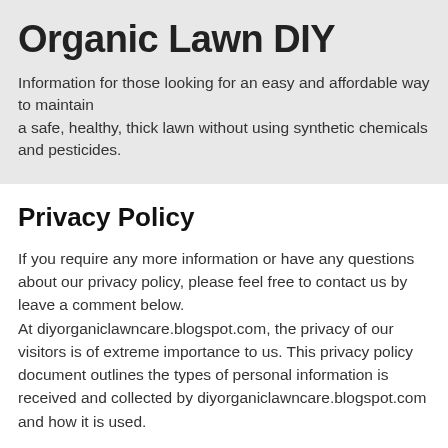Organic Lawn DIY
Information for those looking for an easy and affordable way to maintain
a safe, healthy, thick lawn without using synthetic chemicals and pesticides.
Privacy Policy
If you require any more information or have any questions about our privacy policy, please feel free to contact us by leave a comment below.
At diyorganiclawncare.blogspot.com, the privacy of our visitors is of extreme importance to us. This privacy policy document outlines the types of personal information is received and collected by diyorganiclawncare.blogspot.com and how it is used.